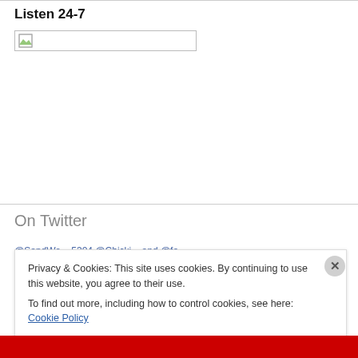Listen 24-7
[Figure (other): Broken image placeholder inside a bordered box, representing a media player or radio stream widget]
On Twitter
@SandWo... 5304 @Chicki... and @fo... ..., ...
Privacy & Cookies: This site uses cookies. By continuing to use this website, you agree to their use.
To find out more, including how to control cookies, see here: Cookie Policy
Close and accept